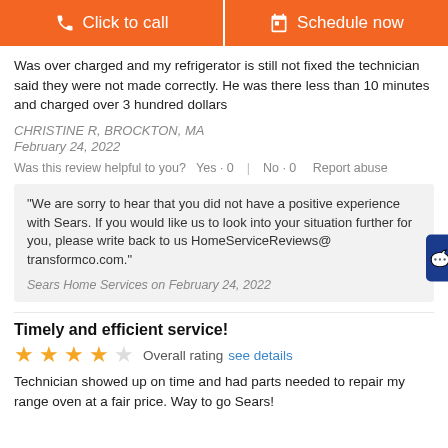[Figure (other): Two orange call-to-action buttons: 'Click to call' with phone icon and 'Schedule now' with calendar icon]
Was over charged and my refrigerator is still not fixed the technician said they were not made correctly. He was there less than 10 minutes and charged over 3 hundred dollars
CHRISTINE R, BROCKTON, MA
February 24, 2022
Was this review helpful to you?   Yes · 0   |   No · 0   Report abuse
"We are sorry to hear that you did not have a positive experience with Sears. If you would like us to look into your situation further for you, please write back to us HomeServiceReviews@ transformco.com."
Sears Home Services on February 24, 2022
Timely and efficient service!
[Figure (other): 4 out of 5 stars rating with 'Overall rating' label and 'see details' link]
Technician showed up on time and had parts needed to repair my range oven at a fair price. Way to go Sears!